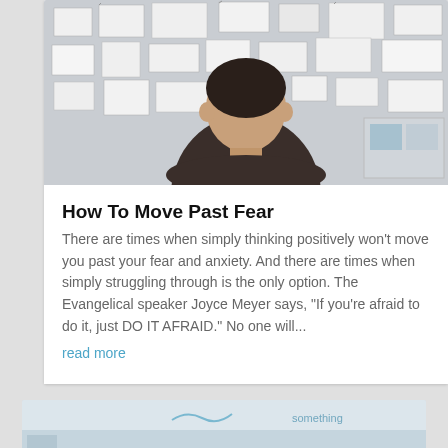[Figure (photo): Person viewed from behind looking at a board covered with papers, sketches, and notes on a wall]
How To Move Past Fear
There are times when simply thinking positively won't move you past your fear and anxiety. And there are times when simply struggling through is the only option. The Evangelical speaker Joyce Meyer says, “If you’re afraid to do it, just DO IT AFRAID.” No one will...
read more
[Figure (photo): Partial view of a second article image at the bottom of the page]